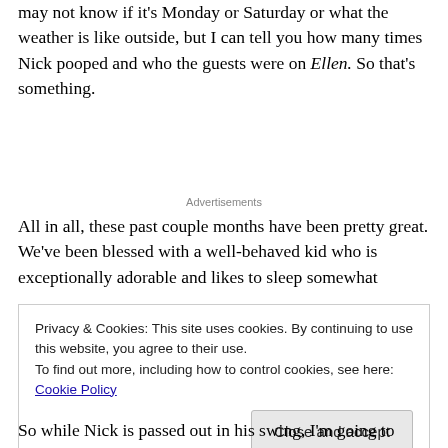may not know if it's Monday or Saturday or what the weather is like outside, but I can tell you how many times Nick pooped and who the guests were on Ellen. So that's something.
Advertisements
All in all, these past couple months have been pretty great. We've been blessed with a well-behaved kid who is exceptionally adorable and likes to sleep somewhat
Privacy & Cookies: This site uses cookies. By continuing to use this website, you agree to their use.
To find out more, including how to control cookies, see here: Cookie Policy
So while Nick is passed out in his swing, I'm going to hurry